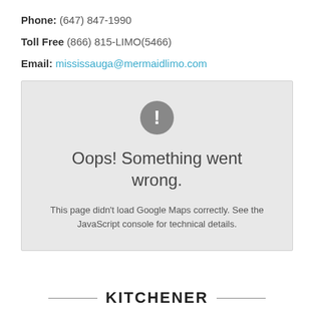Phone: (647) 847-1990
Toll Free (866) 815-LIMO(5466)
Email: mississauga@mermaidlimo.com
[Figure (screenshot): Google Maps error box with grey background showing an exclamation mark circle icon, 'Oops! Something went wrong.' heading, and message: 'This page didn't load Google Maps correctly. See the JavaScript console for technical details.']
KITCHENER